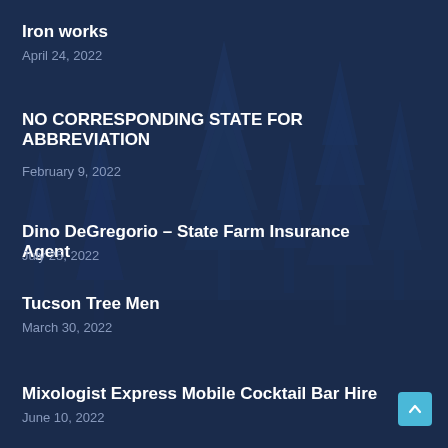Iron works
April 24, 2022
NO CORRESPONDING STATE FOR ABBREVIATION
February 9, 2022
Dino DeGregorio – State Farm Insurance Agent
July 25, 2022
Tucson Tree Men
March 30, 2022
Mixologist Express Mobile Cocktail Bar Hire
June 10, 2022